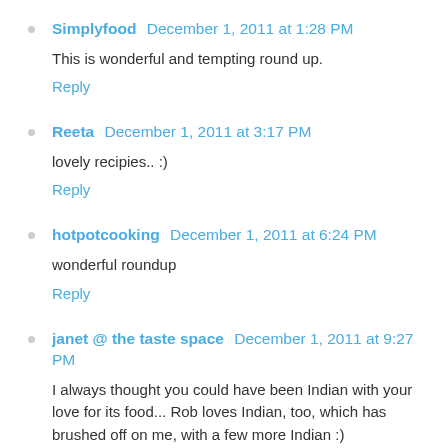Simplyfood  December 1, 2011 at 1:28 PM
This is wonderful and tempting round up.
Reply
Reeta  December 1, 2011 at 3:17 PM
lovely recipies.. :)
Reply
hotpotcooking  December 1, 2011 at 6:24 PM
wonderful roundup
Reply
janet @ the taste space  December 1, 2011 at 9:27 PM
I always thought you could have been Indian with your love for its food... Rob loves Indian, too, which has brushed off on me, with a few more Indian :)